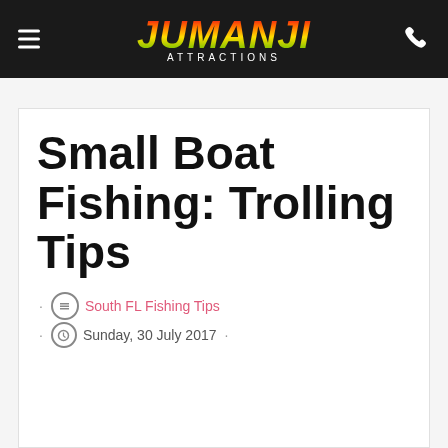Jumanji Attractions
Small Boat Fishing: Trolling Tips
· South FL Fishing Tips · Sunday, 30 July 2017 ·